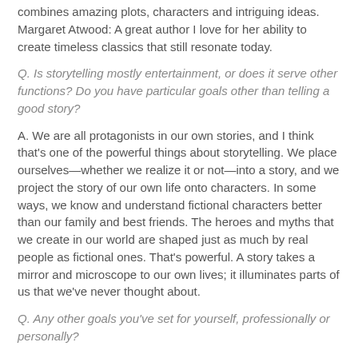combines amazing plots, characters and intriguing ideas. Margaret Atwood: A great author I love for her ability to create timeless classics that still resonate today.
Q. Is storytelling mostly entertainment, or does it serve other functions? Do you have particular goals other than telling a good story?
A. We are all protagonists in our own stories, and I think that's one of the powerful things about storytelling. We place ourselves—whether we realize it or not—into a story, and we project the story of our own life onto characters. In some ways, we know and understand fictional characters better than our family and best friends. The heroes and myths that we create in our world are shaped just as much by real people as fictional ones. That's powerful. A story takes a mirror and microscope to our own lives; it illuminates parts of us that we've never thought about.
Q. Any other goals you've set for yourself, professionally or personally?